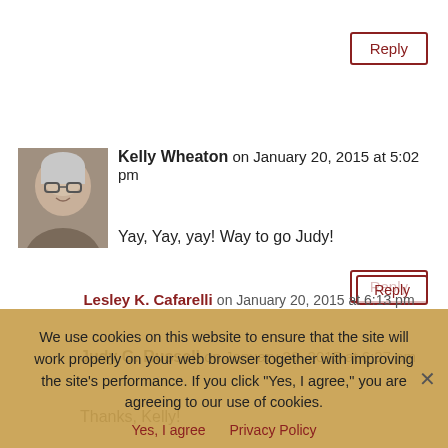Reply (button, top right)
[Figure (photo): Avatar photo of Kelly Wheaton, a woman with gray hair and glasses]
Kelly Wheaton on January 20, 2015 at 5:02 pm
Yay, Yay, yay! Way to go Judy!
Reply (button)
Judy G. Russell on January 20, 2015 at 6:37 pm
Thanks, Kelly!
Reply (button, partially visible)
Lesley K. Cafarelli on January 20, 2015 at 6:13 pm
We use cookies on this website to ensure that the site will work properly on your web browser together with improving the site's performance. If you click "Yes, I agree," you are agreeing to our use of cookies.
Yes, I agree   Privacy Policy